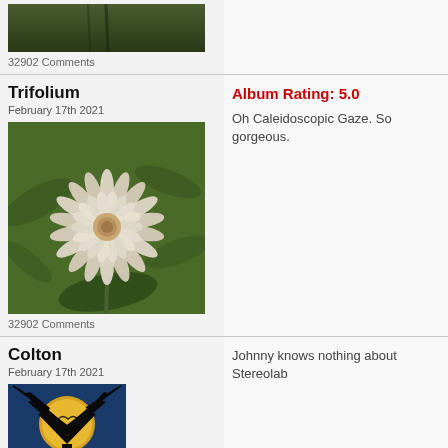[Figure (photo): Partial view of a plant/flower photo at the top of the page (cropped)]
32902 Comments
Trifolium
February 17th 2021
[Figure (photo): Close-up photo of a white/cream clover flower (Trifolium) with green blurred background]
32902 Comments
Album Rating: 5.0
Oh Caleidoscopic Gaze. So gorgeous.
Colton
February 17th 2021
[Figure (photo): Album art with a tree silhouette against a moon and blue night sky]
Johnny knows nothing about Stereolab